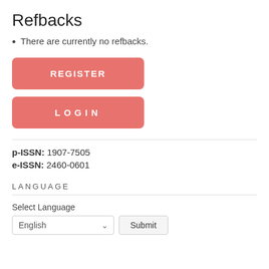Refbacks
There are currently no refbacks.
[Figure (screenshot): REGISTER button — pink/salmon rounded rectangle with white bold text 'REGISTER']
[Figure (screenshot): LOGIN button — pink/salmon rounded rectangle with white bold letter-spaced text 'LOGIN']
p-ISSN: 1907-7505
e-ISSN: 2460-0601
LANGUAGE
Select Language
[Figure (screenshot): Language selector dropdown showing 'English' with a chevron, and a Submit button]